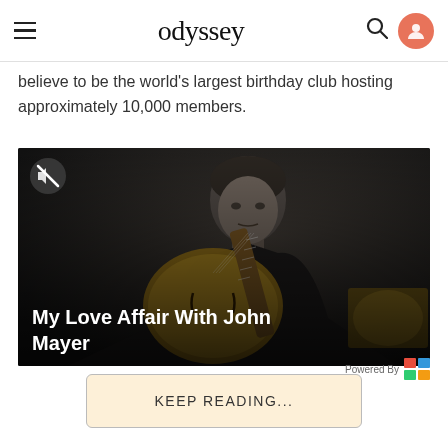odyssey
believe to be the world's largest birthday club hosting approximately 10,000 members.
[Figure (photo): Black and white photo of a man playing an archtop guitar, with overlay text 'My Love Affair With John Mayer']
KEEP READING...